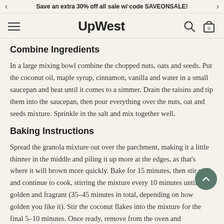Save an extra 30% off all sale w/ code SAVEONSALE!
[Figure (screenshot): UpWest website navigation bar with hamburger menu, UpWest logo, search icon, and cart icon showing 0 items]
Combine Ingredients
In a large mixing bowl combine the chopped nuts, oats and seeds. Put the coconut oil, maple syrup, cinnamon, vanilla and water in a small saucepan and heat until it comes to a simmer. Drain the raisins and tip them into the saucepan, then pour everything over the nuts, oat and seeds mixture. Sprinkle in the salt and mix together well.
Baking Instructions
Spread the granola mixture out over the parchment, making it a little thinner in the middle and piling it up more at the edges, as that's where it will brown more quickly. Bake for 15 minutes, then stir well and continue to cook, stirring the mixture every 10 minutes until golden and fragrant (35-45 minutes in total, depending on how golden you like it). Stir the coconut flakes into the mixture for the final 5-10 minutes. Once ready, remove from the oven and